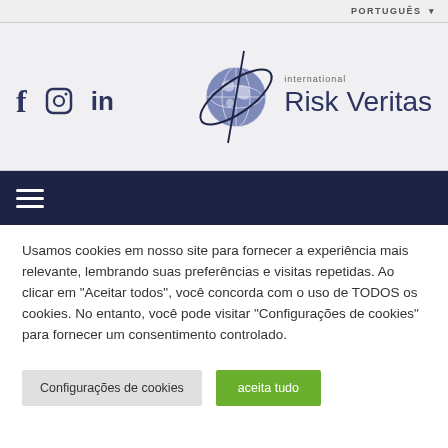PORTUGUÊS ▾
[Figure (logo): International Risk Veritas logo with globe and orbit rings, alongside social media icons for Facebook, Instagram, and LinkedIn]
[Figure (other): Dark navy navigation bar with hamburger menu icon (three horizontal lines)]
Usamos cookies em nosso site para fornecer a experiência mais relevante, lembrando suas preferências e visitas repetidas. Ao clicar em "Aceitar todos", você concorda com o uso de TODOS os cookies. No entanto, você pode visitar "Configurações de cookies" para fornecer um consentimento controlado.
Configurações de cookies
aceita tudo